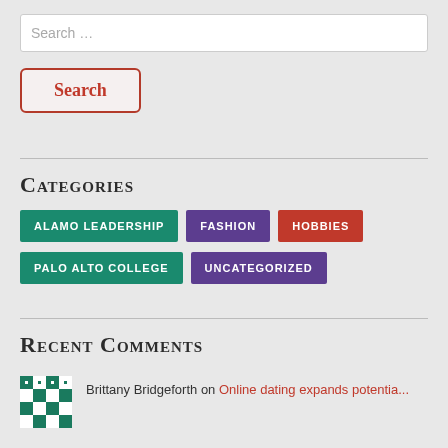Search …
Search
Categories
ALAMO LEADERSHIP
FASHION
HOBBIES
PALO ALTO COLLEGE
UNCATEGORIZED
Recent Comments
Brittany Bridgeforth on Online dating expands potentia...